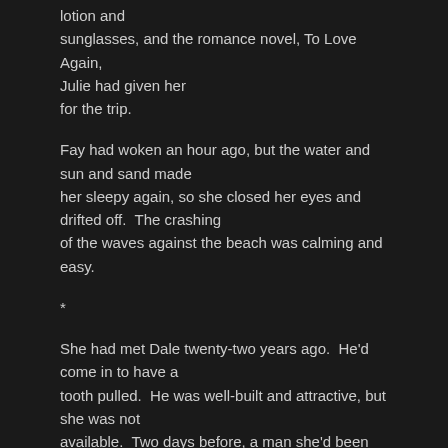lotion and sunglasses, and the romance novel, To Love Again, Julie had given her for the trip.
Fay had woken an hour ago, but the water and sun and sand made her sleepy again, so she closed her eyes and drifted off. The crashing of the waves against the beach was calming and easy.
*
She had met Dale twenty-two years ago. He'd come in to have a tooth pulled. He was well-built and attractive, but she was not available. Two days before, a man she'd been dating for over a year, and whom she didn't truly love, had asked her to marry him.